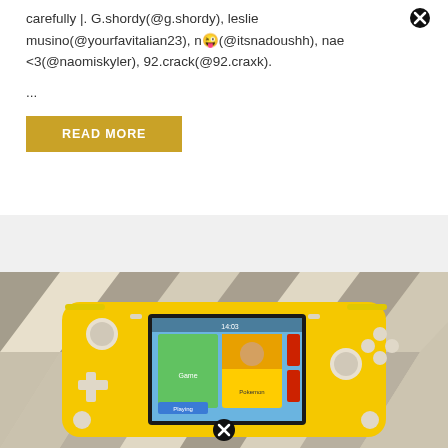carefully |. G.shordy(@g.shordy), leslie musino(@yourfavitalian23), n😜(@itsnadoushh), nae <3(@naomiskyler), 92.crack(@92.craxk).
...
[Figure (other): Gold/yellow READ MORE button]
[Figure (photo): Photo of a yellow Nintendo Switch Lite handheld gaming console resting on a geometric patterned fabric background, showing the home screen with game icons including what appears to be a Pokemon game.]